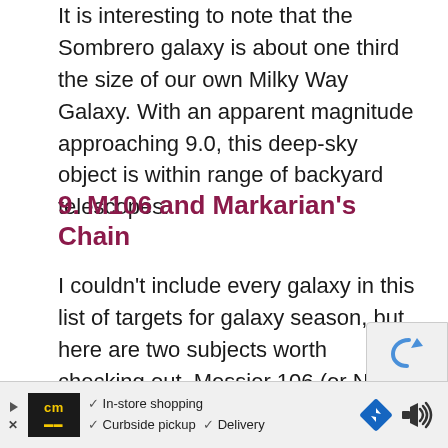It is interesting to note that the Sombrero galaxy is about one third the size of our own Milky Way Galaxy. With an apparent magnitude approaching 9.0, this deep-sky object is within range of backyard telescopes.
9. M106 and Markarian's Chain
I couldn't include every galaxy in this list of targets for galaxy season, but here are two subjects worth checking out. Messier 106 (or NGC 4258) is another fantastic subject for galaxy season. It is an intermediate spiral galaxy in the constellation Canes Venatici.
[Figure (other): Advertisement banner at the bottom of the page showing a store logo (cm) with checkmarks for In-store shopping, Curbside pickup, and Delivery, along with navigation icons.]